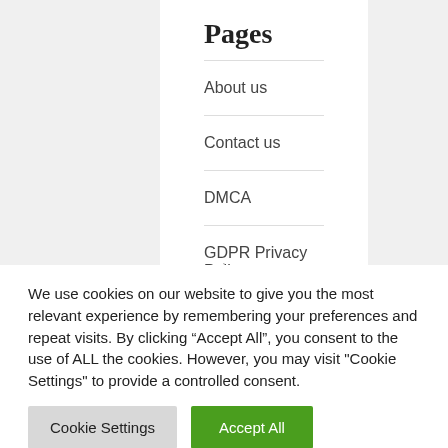Pages
About us
Contact us
DMCA
GDPR Privacy Policy
We use cookies on our website to give you the most relevant experience by remembering your preferences and repeat visits. By clicking “Accept All”, you consent to the use of ALL the cookies. However, you may visit “Cookie Settings” to provide a controlled consent.
Cookie Settings | Accept All